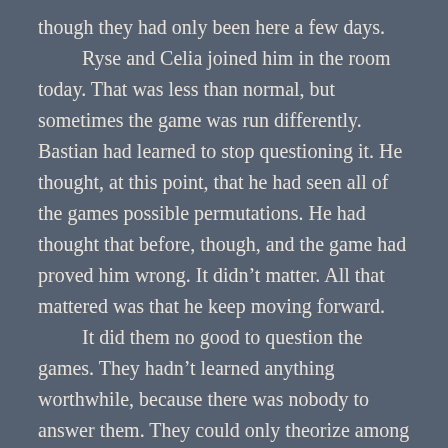though they had only been here a few days.
	Ryse and Celia joined him in the room today. That was less than normal, but sometimes the game was run differently. Bastian had learned to stop questioning it. He thought, at this point, that he had seen all of the games possible permutations. He had thought that before, though, and the game had proved him wrong. It didn't matter. All that mattered was that he keep moving forward.
	It did them no good to question the games. They hadn't learned anything worthwhile, because there was nobody to answer them. They could only theorize among themselves, in the brief periods they had before games started. Not that any amount of talking about the games bought them anything.